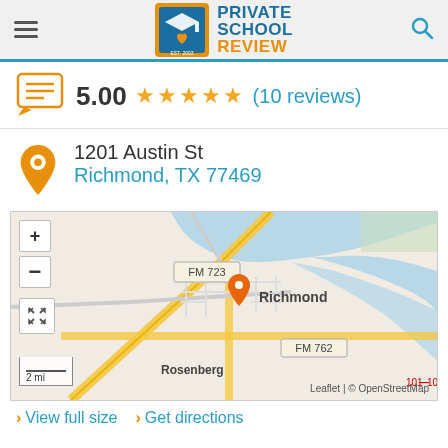Private School Review
5.00 ★★★★★ (10 reviews)
1201 Austin St
Richmond, TX 77469
[Figure (map): OpenStreetMap showing Richmond, TX area with orange location pin, FM 723 and FM 762 road labels, Rosenberg label, zoom controls, scale bar (2 mi), and Leaflet / OpenStreetMap attribution.]
▶ View full size  ▶ Get directions